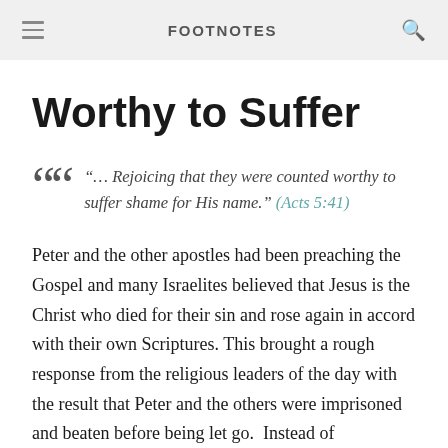FOOTNOTES
Worthy to Suffer
“… Rejoicing that they were counted worthy to suffer shame for His name.” (Acts 5:41)
Peter and the other apostles had been preaching the Gospel and many Israelites believed that Jesus is the Christ who died for their sin and rose again in accord with their own Scriptures. This brought a rough response from the religious leaders of the day with the result that Peter and the others were imprisoned and beaten before being let go.  Instead of complaining that Jesus had not protected them from such people and action they rejoiced